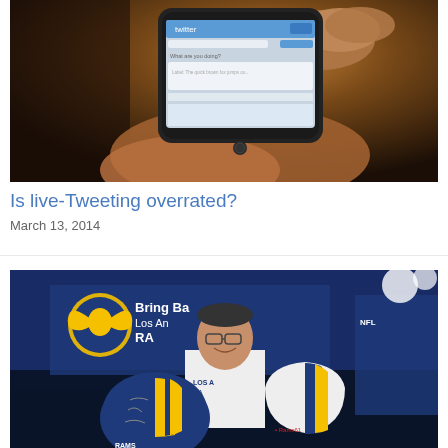[Figure (photo): Hands holding a smartphone displaying the Twitter app interface with 'What are you doing?' prompt visible on screen]
Is live-Tweeting overrated?
March 13, 2014
[Figure (photo): Man smiling and posing with two Los Angeles Rams football helmets (blue and gold) in front of a 'Bring Back Los Angeles Rams' banner]